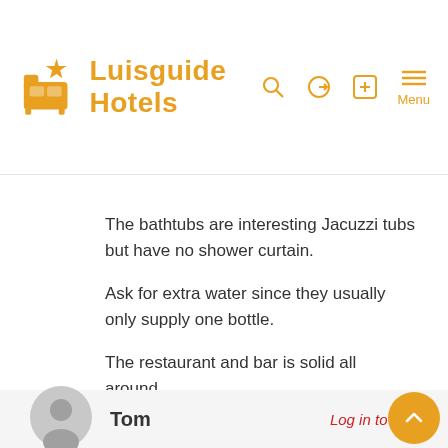Luisguide Hotels
The bathtubs are interesting Jacuzzi tubs but have no shower curtain.

Ask for extra water since they usually only supply one bottle.

The restaurant and bar is solid all around.
Tom
Log in to Reply